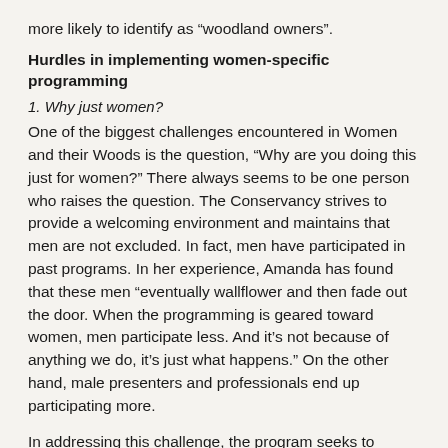more likely to identify as “woodland owners”.
Hurdles in implementing women-specific programming
1. Why just women?
One of the biggest challenges encountered in Women and their Woods is the question, “Why are you doing this just for women?” There always seems to be one person who raises the question. The Conservancy strives to provide a welcoming environment and maintains that men are not excluded. In fact, men have participated in past programs. In her experience, Amanda has found that these men “eventually wallflower and then fade out the door. When the programming is geared toward women, men participate less. And it’s not because of anything we do, it’s just what happens.” On the other hand, male presenters and professionals end up participating more.
In addressing this challenge, the program seeks to continually think about “how to engage women but still keep men involved. We want to recognize that the programming is targeted to women, but without excluding men.”